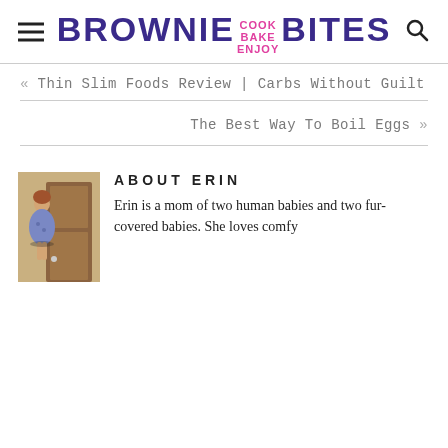BROWNIE BITES — Cook Bake Enjoy (logo with hamburger menu and search icon)
« Thin Slim Foods Review | Carbs Without Guilt
The Best Way To Boil Eggs »
ABOUT ERIN
Erin is a mom of two human babies and two fur-covered babies. She loves comfy clothes, good books, and bright colors, but
[Figure (photo): Photo of Erin standing in front of a wooden door, wearing a floral dress]